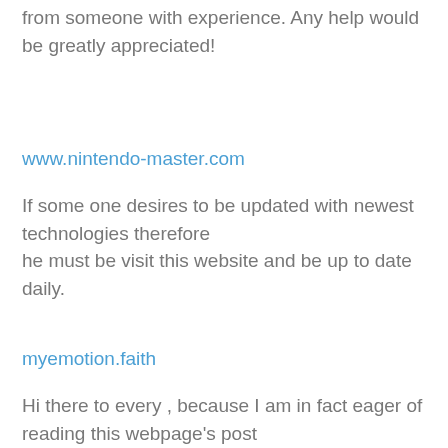from someone with experience. Any help would be greatly appreciated!
www.nintendo-master.com
If some one desires to be updated with newest technologies therefore he must be visit this website and be up to date daily.
myemotion.faith
Hi there to every , because I am in fact eager of reading this webpage's post